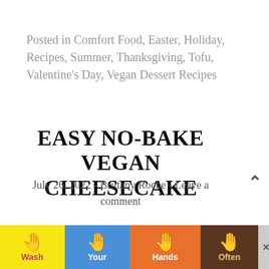Posted in Comfort Food, Easter, Holiday, Recipes, Summer, Thanksgiving, Tofu, Valentine's Day, Vegan Dessert Recipes
EASY NO-BAKE VEGAN CHEESECAKE
July 26, 2022 - Brittany Roche - Leave a comment
[Figure (photo): Partial view of a cheesecake dish, appears to be the edge of a white plate with the dessert]
[Figure (infographic): Advertisement banner: Wash Your Hands Often - public health ad with hand-washing emoji icons on colored background panels (yellow, blue, orange, brown)]